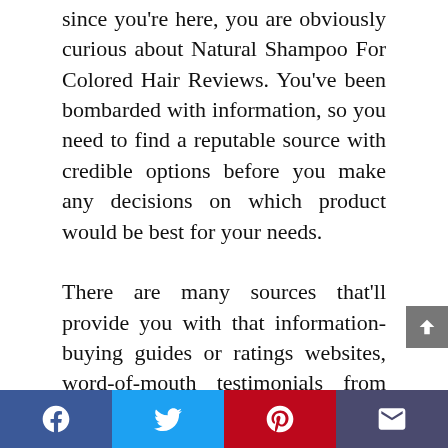since you're here, you are obviously curious about Natural Shampoo For Colored Hair Reviews. You've been bombarded with information, so you need to find a reputable source with credible options before you make any decisions on which product would be best for your needs. There are many sources that'll provide you with that information- buying guides or ratings websites, word-of-mouth testimonials from friends or family members, online forums where users share their personal experiences, product reviews specifically found all over the internet and YouTube channels. Only thorough research will ensure that you get the right product.